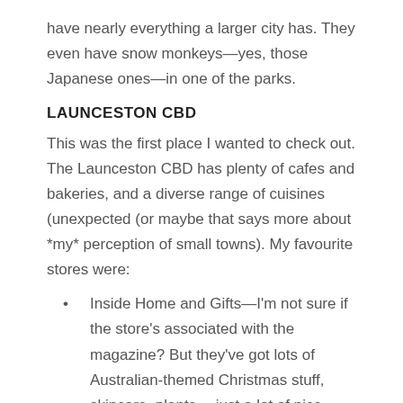have nearly everything a larger city has. They even have snow monkeys—yes, those Japanese ones—in one of the parks.
LAUNCESTON CBD
This was the first place I wanted to check out. The Launceston CBD has plenty of cafes and bakeries, and a diverse range of cuisines (unexpected (or maybe that says more about *my* perception of small towns). My favourite stores were:
Inside Home and Gifts—I'm not sure if the store's associated with the magazine? But they've got lots of Australian-themed Christmas stuff, skincare, plants… just a lot of nice things. Go visit.
miiOmai—a cute clothing store.